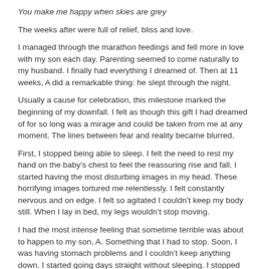You make me happy when skies are grey
The weeks after were full of relief, bliss and love.
I managed through the marathon feedings and fell more in love with my son each day. Parenting seemed to come naturally to my husband. I finally had everything I dreamed of. Then at 11 weeks, A did a remarkable thing: he slept through the night.
Usually a cause for celebration, this milestone marked the beginning of my downfall. I felt as though this gift I had dreamed of for so long was a mirage and could be taken from me at any moment. The lines between fear and reality became blurred.
First, I stopped being able to sleep. I felt the need to rest my hand on the baby’s chest to feel the reassuring rise and fall. I started having the most disturbing images in my head. These horrifying images tortured me relentlessly. I felt constantly nervous and on edge. I felt so agitated I couldn’t keep my body still. When I lay in bed, my legs wouldn’t stop moving.
I had the most intense feeling that sometime terrible was about to happen to my son, A. Something that I had to stop. Soon, I was having stomach problems and I couldn’t keep anything down. I started going days straight without sleeping. I stopped eating solid foods. I lost twenty pounds in a month. I became weak and fragile.
The images I’d seen before were now coupled with horrifying phrases in my head. They all involved seeing my baby hurt. I had urges to do things like bang my head on the shower wall to stop them. These urges were like the